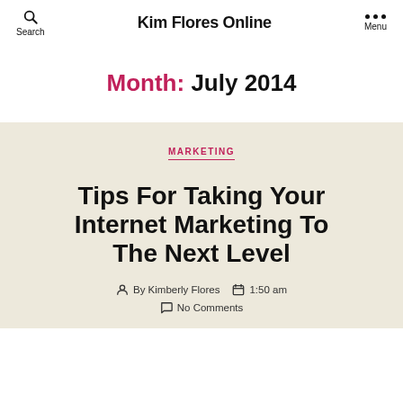Kim Flores Online
Month: July 2014
MARKETING
Tips For Taking Your Internet Marketing To The Next Level
By Kimberly Flores  1:50 am  No Comments